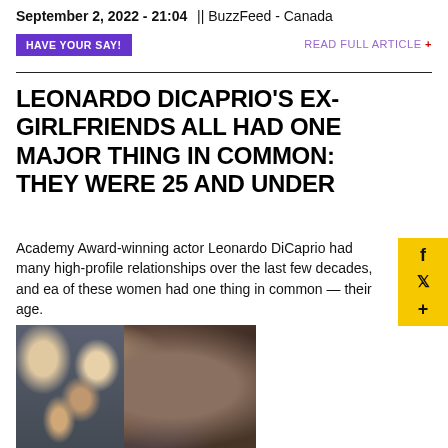September 2, 2022 - 21:04 || BuzzFeed - Canada
HAVE YOUR SAY!
READ FULL ARTICLE +
LEONARDO DICAPRIO'S EX-GIRLFRIENDS ALL HAD ONE MAJOR THING IN COMMON: THEY WERE 25 AND UNDER
Academy Award-winning actor Leonardo DiCaprio had many high-profile relationships over the last few decades, and each of these women had one thing in common — their age.
[Figure (photo): Photo collage showing Leonardo DiCaprio and several women, presented as a composite image]
View Entire Post ›